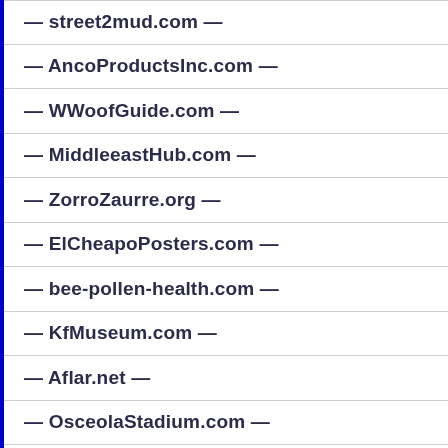— street2mud.com —
— AncoProductsInc.com —
— WWoofGuide.com —
— MiddleeastHub.com —
— ZorroZaurre.org —
— ElCheapoPosters.com —
— bee-pollen-health.com —
— KfMuseum.com —
— Aflar.net —
— OsceolaStadium.com —